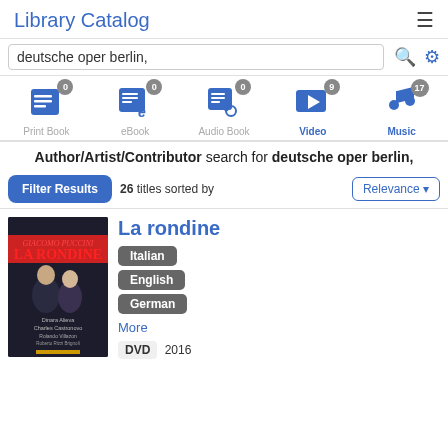Library Catalog
deutsche oper berlin,
[Figure (infographic): Media type filter icons: Print Book (0), eBook (0), Audio Book (0), Video (9, active), Music (17, active)]
Author/Artist/Contributor search for deutsche oper berlin,
26 titles sorted by Relevance
La rondine
[Figure (photo): Book cover for La rondine showing two opera performers]
Italian
English
German
More
DVD  2016